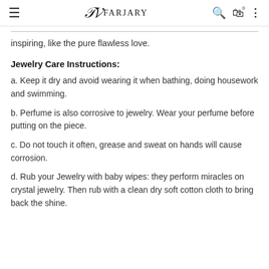FARJARY
inspiring, like the pure flawless love.
Jewelry Care Instructions:
a. Keep it dry and avoid wearing it when bathing, doing housework and swimming.
b. Perfume is also corrosive to jewelry. Wear your perfume before putting on the piece.
c. Do not touch it often, grease and sweat on hands will cause corrosion.
d. Rub your Jewelry with baby wipes: they perform miracles on crystal jewelry. Then rub with a clean dry soft cotton cloth to bring back the shine.